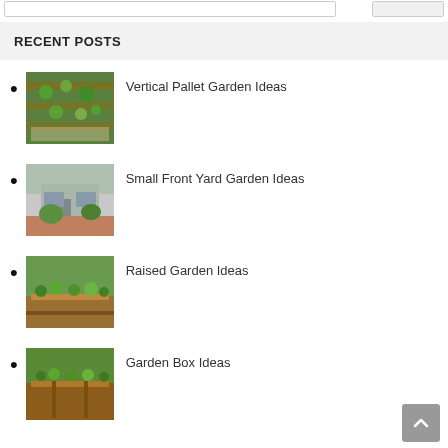RECENT POSTS
Vertical Pallet Garden Ideas
Small Front Yard Garden Ideas
Raised Garden Ideas
Garden Box Ideas